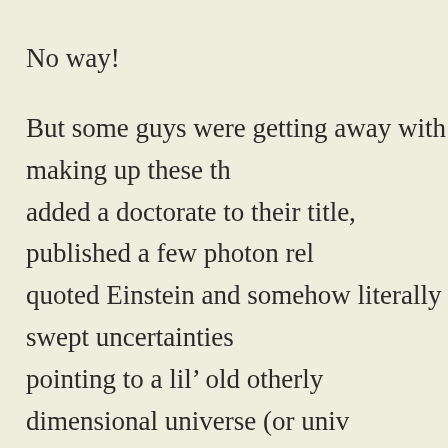No way!
But some guys were getting away with making up these things. They added a doctorate to their title, published a few photon related papers, quoted Einstein and somehow literally swept uncertainties under the rug by pointing to a lil’ old otherly dimensional universe (or universes) to use as the carpet under which to hide their loose ends.
Nice try.
But I don’t buy it.